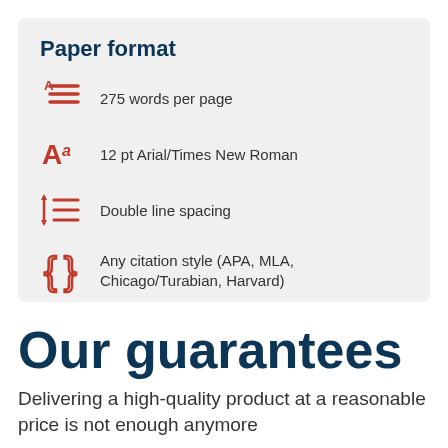Paper format
275 words per page
12 pt Arial/Times New Roman
Double line spacing
Any citation style (APA, MLA, Chicago/Turabian, Harvard)
Our guarantees
Delivering a high-quality product at a reasonable price is not enough anymore